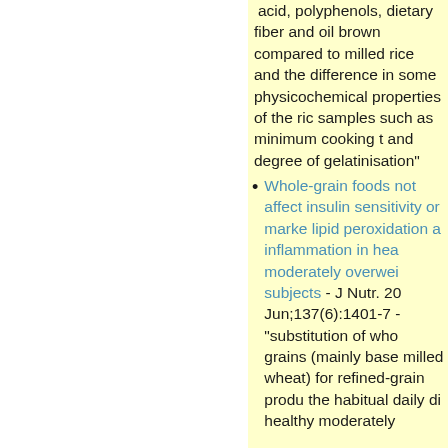acid, polyphenols, dietary fiber and oil brown compared to milled rice and the difference in some physicochemical properties of the rice samples such as minimum cooking t and degree of gelatinisation"
Whole-grain foods not affect insulin sensitivity or markers lipid peroxidation and inflammation in healthy moderately overweight subjects - J Nutr. 2007 Jun;137(6):1401-7 - "substitution of whole grains (mainly based on milled wheat) for refined-grain products in the habitual daily diet of healthy moderately